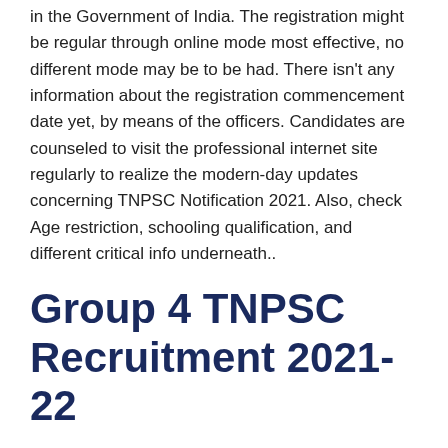in the Government of India. The registration might be regular through online mode most effective, no different mode may be to be had. There isn't any information about the registration commencement date yet, by means of the officers. Candidates are counseled to visit the professional internet site regularly to realize the modern-day updates concerning TNPSC Notification 2021. Also, check Age restriction, schooling qualification, and different critical info underneath..
Group 4 TNPSC Recruitment 2021-22
If we speak approximately exam patterns, the TNPSC Group Four exam can be carried out offline within the written mode. The selection system includes stages. At the first level, the written examination can be held, candidates might be called for document verification. The exam council will prepare a benefit listing on behalf of